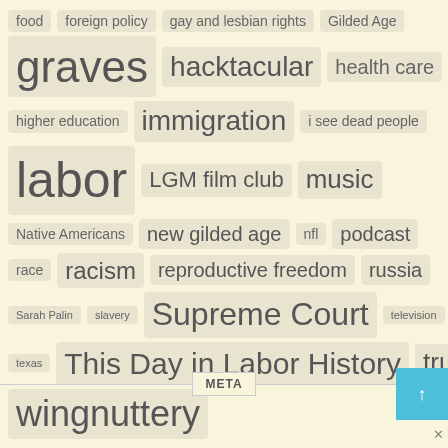[Figure (infographic): Tag cloud with topics of varying font sizes on a light yellow background. Tags include: food, foreign policy, gay and lesbian rights, Gilded Age, graves, hacktacular, health care, higher education, immigration, i see dead people, labor, LGM film club, music, Native Americans, new gilded age, nfl, podcast, race, racism, reproductive freedom, russia, Sarah Palin, slavery, Supreme Court, television, texas, This Day in Labor History, trump, wingnuttery]
META